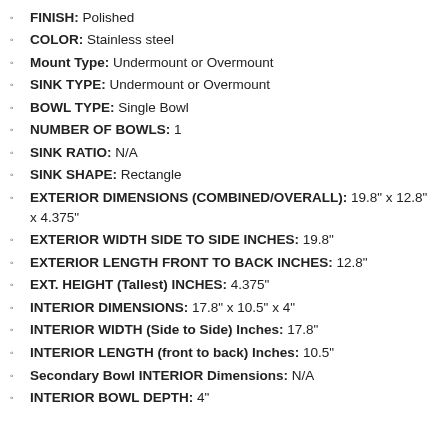FINISH: Polished
COLOR: Stainless steel
Mount Type: Undermount or Overmount
SINK TYPE: Undermount or Overmount
BOWL TYPE: Single Bowl
NUMBER OF BOWLS: 1
SINK RATIO: N/A
SINK SHAPE: Rectangle
EXTERIOR DIMENSIONS (COMBINED/OVERALL): 19.8" x 12.8" x 4.375"
EXTERIOR WIDTH SIDE TO SIDE INCHES: 19.8"
EXTERIOR LENGTH FRONT TO BACK INCHES: 12.8"
EXT. HEIGHT (Tallest) INCHES:  4.375"
INTERIOR DIMENSIONS: 17.8" x 10.5" x 4"
INTERIOR WIDTH (Side to Side) Inches: 17.8"
INTERIOR LENGTH (front to back) Inches: 10.5"
Secondary Bowl INTERIOR Dimensions: N/A
INTERIOR BOWL DEPTH: 4"